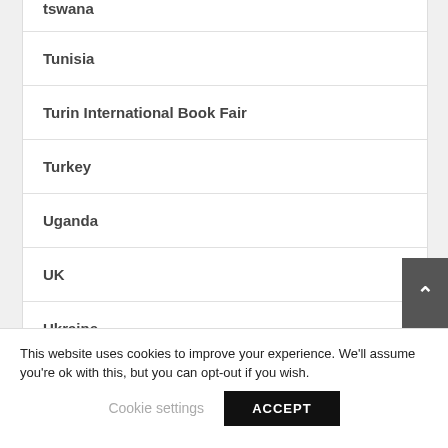tswana
Tunisia
Turin International Book Fair
Turkey
Uganda
UK
Ukraine
This website uses cookies to improve your experience. We'll assume you're ok with this, but you can opt-out if you wish.
Cookie settings
ACCEPT